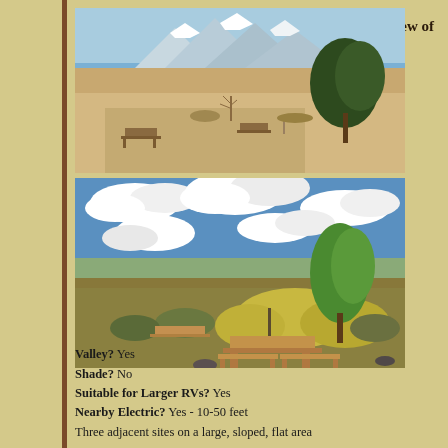View of
[Figure (photo): Desert campground with picnic tables, flat sandy area, scrubby trees, and snow-capped mountains in background under blue sky]
[Figure (photo): Campground with picnic table in foreground, green tree, sagebrush and desert scrub, wide valley view under dramatic cloudy sky]
Valley? Yes
Shade? No
Suitable for Larger RVs? Yes
Nearby Electric? Yes - 10-50 feet
Three adjacent sites on a large, sloped, flat area